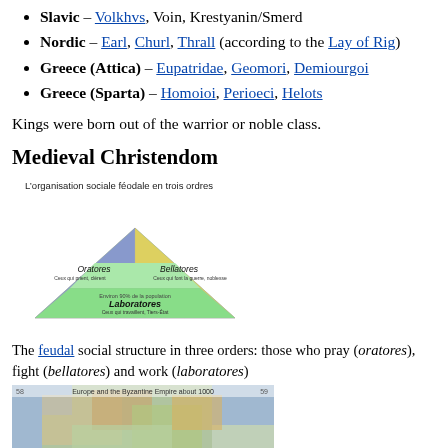Slavic – Volkhvs, Voin, Krestyanin/Smerd
Nordic – Earl, Churl, Thrall (according to the Lay of Rig)
Greece (Attica) – Eupatridae, Geomori, Demiourgoi
Greece (Sparta) – Homoioi, Perioeci, Helots
Kings were born out of the warrior or noble class.
Medieval Christendom
[Figure (illustration): Feudal social structure pyramid diagram in three orders: Oratores (those who pray) at top left in blue, Bellatores (those who fight) at top right in yellow, and Laboratores (those who work) at the base in green. French label: L'organisation sociale féodale en trois ordres.]
The feudal social structure in three orders: those who pray (oratores), fight (bellatores) and work (laboratores)
[Figure (map): Historical map of Europe and the Byzantine Empire about 1000 AD.]